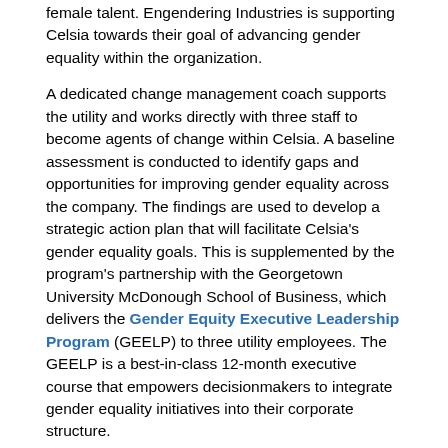female talent. Engendering Industries is supporting Celsia towards their goal of advancing gender equality within the organization.
A dedicated change management coach supports the utility and works directly with three staff to become agents of change within Celsia. A baseline assessment is conducted to identify gaps and opportunities for improving gender equality across the company. The findings are used to develop a strategic action plan that will facilitate Celsia’s gender equality goals. This is supplemented by the program’s partnership with the Georgetown University McDonough School of Business, which delivers the Gender Equity Executive Leadership Program (GEELP) to three utility employees. The GEELP is a best-in-class 12-month executive course that empowers decisionmakers to integrate gender equality initiatives into their corporate structure.
Engendering Industries will also work to support and accelerate existing gender equality initiatives underway at Celsia, including:
Strengthening its Gender Equity and Diversity policy, which includes measures to promote equality in recruitment and renumeration and the prevention of sexual harassment.
Signing of the Celsia Business Gender Equality Seal,